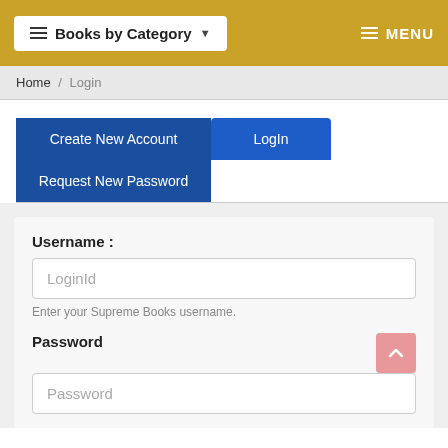≡ Books by Category ▾   ≡ MENU
Home / Login
Create New Account
LogIn
Request New Password
Username :
LoginId
Enter your Supreme Books username.
Password
Password